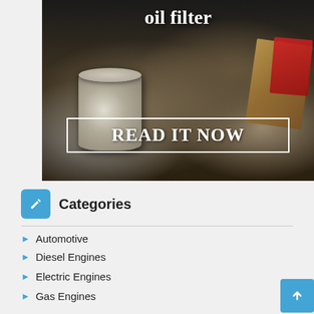[Figure (photo): Dark background photo of old oil filters and auto parts with text overlay 'oil filter' and a 'READ IT NOW' call-to-action button with white border]
Categories
Automotive
Diesel Engines
Electric Engines
Gas Engines